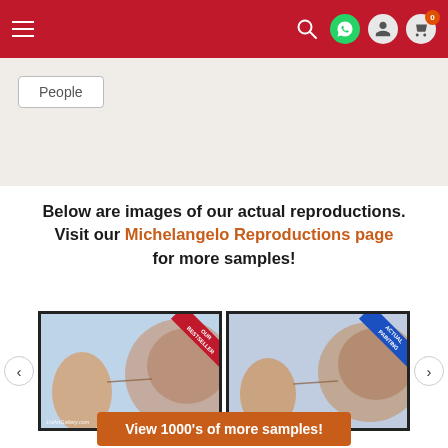Navigation bar with hamburger menu, search, WhatsApp, user and cart icons
People
Below are images of our actual reproductions. Visit our Michelangelo Reproductions page for more samples!
[Figure (photo): Two framed reproductions of Michelangelo's Creation of Adam painting side by side in a carousel, with left/right navigation arrows. Left image has red ribbon, right image has blue ribbon. Both show 1stArtGallery.com watermark.]
View 1000's of more samples!